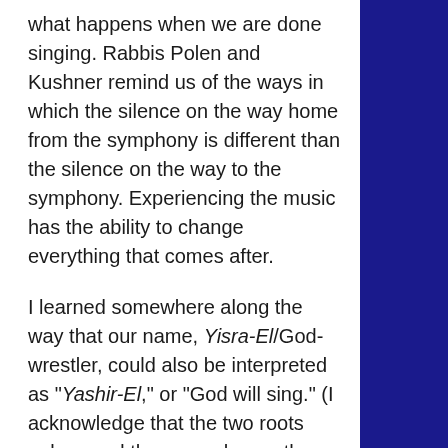what happens when we are done singing. Rabbis Polen and Kushner remind us of the ways in which the silence on the way home from the symphony is different than the silence on the way to the symphony. Experiencing the music has the ability to change everything that comes after.
I learned somewhere along the way that our name, Yisra-El/God-wrestler, could also be interpreted as “Yashir-El,” or “God will sing.” (I acknowledge that the two roots only sound the same, hence the use of “could be interpreted….”) I do love the idea that each of our lives is a melody that is somehow sung in this universe and, to a great degree, I am the composer of that song. I get to choose